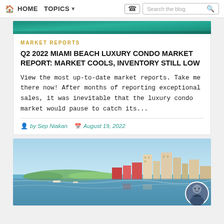HOME  TOPICS  Search the blog
[Figure (photo): Teal/green banner image strip at top of article card]
MARKET REPORTS
Q2 2022 MIAMI BEACH LUXURY CONDO MARKET REPORT: MARKET COOLS, INVENTORY STILL LOW
View the most up-to-date market reports. Take me there now! After months of reporting exceptional sales, it was inevitable that the luxury condo market would pause to catch its...
by Sep Niakan   August 19, 2022
[Figure (photo): Aerial photograph of Miami Beach skyline and waterway with islands and buildings, with a circular portrait avatar of a man in suit in bottom-right corner]